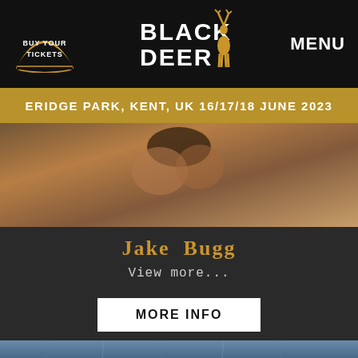BUY YOUR TICKETS | BLACK DEER | MENU
ERIDGE PARK, KENT, UK 16/17/18 JUNE 2023
[Figure (photo): Close-up photo of hands holding something, warm tones, appears to be outdoor/festival context]
Jake Bugg
View more...
MORE INFO
[Figure (photo): Bottom portion of another image, appears to be a blue/grey textured background, partially visible]